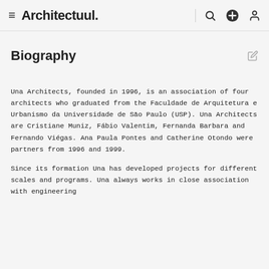Architectuul.
Biography
Una Architects, founded in 1996, is an association of four architects who graduated from the Faculdade de Arquitetura e Urbanismo da Universidade de São Paulo (USP). Una Architects are Cristiane Muniz, Fábio Valentim, Fernanda Barbara and Fernando Viégas. Ana Paula Pontes and Catherine Otondo were partners from 1996 and 1999.
Since its formation Una has developed projects for different scales and programs. Una always works in close association with engineering